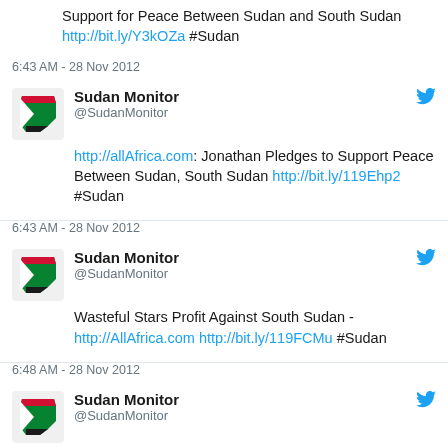Support for Peace Between Sudan and South Sudan http://bit.ly/Y3kOZa #Sudan
6:43 AM - 28 Nov 2012
Sudan Monitor @SudanMonitor
http://allAfrica.com: Jonathan Pledges to Support Peace Between Sudan, South Sudan http://bit.ly/119Ehp2 #Sudan
6:43 AM - 28 Nov 2012
Sudan Monitor @SudanMonitor
Wasteful Stars Profit Against South Sudan - http://AllAfrica.com http://bit.ly/119FCMu #Sudan
6:48 AM - 28 Nov 2012
Sudan Monitor @SudanMonitor